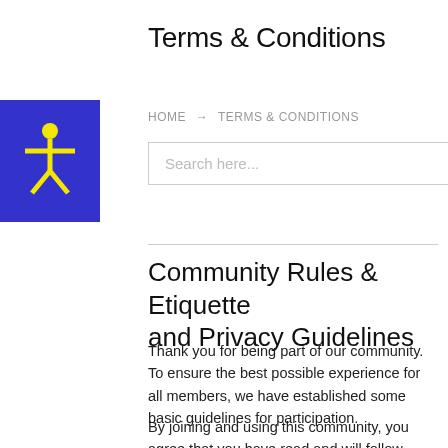Terms & Conditions
HOME → TERMS & CONDITIONS
[Figure (illustration): Blue square accessibility icon with a yellow human figure with arms outstretched]
Search here...
Community Rules & Etiquette and Privacy Guidelines
Thank you for being part of our community. To ensure the best possible experience for all members, we have established some basic guidelines for participation.
By joining and using this community, you agree that you have read and will follow these rules and guidelines. You also agree to reserve discussions and shared files and content to that best suited to the medium. This is a great medium